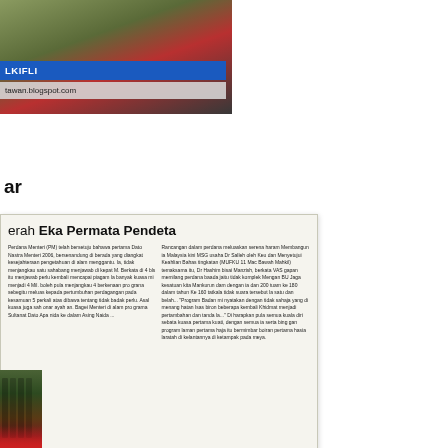[Figure (photo): Photo of a person with blue banner bar showing 'LKIFLI' and grey bar showing 'tawan.blogspot.com']
ar
[Figure (screenshot): Newspaper clipping with headline 'erah Eka Permata Pendeta' and two columns of Malay text]
[Figure (photo): Partial photo showing colorful books/objects on left edge]